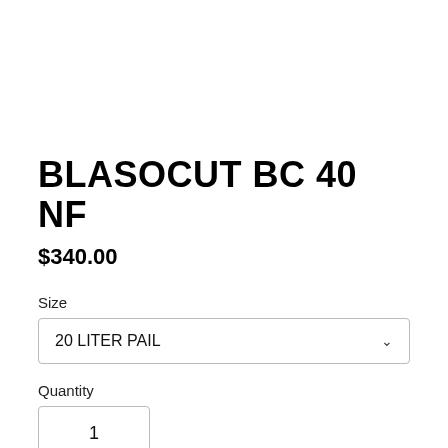BLASOCUT BC 40 NF
$340.00
Size
20 LITER PAIL
Quantity
1